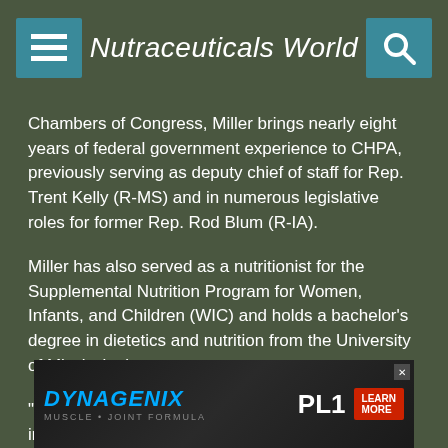Nutraceuticals World
Chambers of Congress, Miller brings nearly eight years of federal government experience to CHPA, previously serving as deputy chief of staff for Rep. Trent Kelly (R-MS) and in numerous legislative roles for former Rep. Rod Blum (R-IA).
Miller has also served as a nutritionist for the Supplemental Nutrition Program for Women, Infants, and Children (WIC) and holds a bachelor's degree in dietetics and nutrition from the University of Mississippi.
"Kirby's background and expertise will be instrumental to CHPA's continued advocacy on Capitol Hill," said Schloss, "and we're delighted that she will add to our efforts on behalf of CHPA members."
[Figure (infographic): DYNAGENIX advertisement banner with logo, muscle/joint formula tagline, PLT branding, and LEARN MORE button]